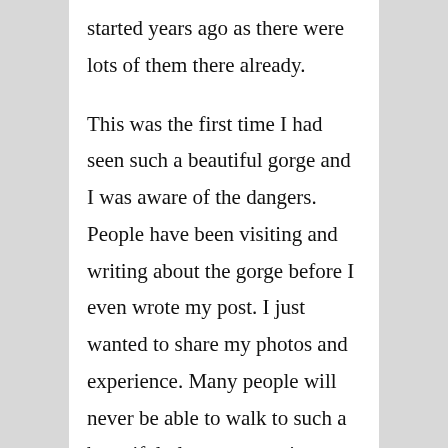started years ago as there were lots of them there already.

This was the first time I had seen such a beautiful gorge and I was aware of the dangers. People have been visiting and writing about the gorge before I even wrote my post. I just wanted to share my photos and experience. Many people will never be able to walk to such a beautiful place, so to write a story and share